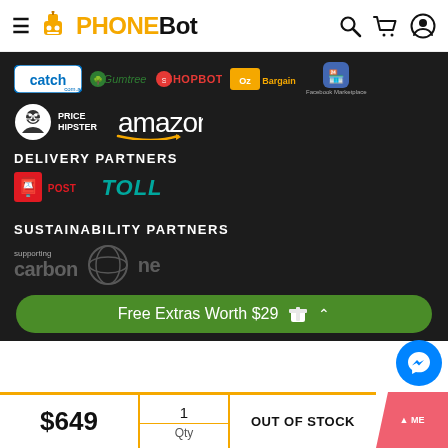PHONEBOT
[Figure (logo): Partner logos row 1: catch, Gumtree, SHOPBOT, OzBargain, Facebook Marketplace]
[Figure (logo): Partner logos row 2: Price Hipster, amazon]
DELIVERY PARTNERS
[Figure (logo): Delivery partner logos: Australia Post, TOLL]
SUSTAINABILITY PARTNERS
[Figure (logo): Sustainability partner logo: supporting carbon neutral]
Free Extras Worth $29
$649
1 Qty
OUT OF STOCK